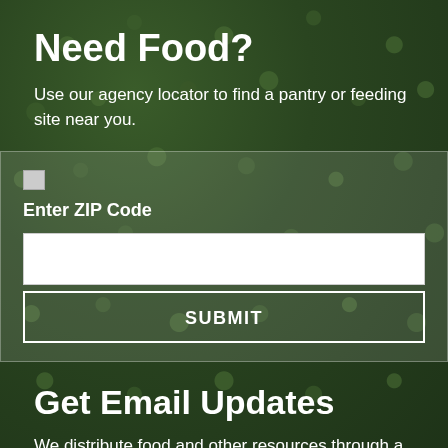Need Food?
Use our agency locator to find a pantry or feeding site near you.
[Figure (screenshot): A search widget with a broken image icon, 'Enter ZIP Code' label, a white text input field, and a SUBMIT button with white border on dark/transparent background over a green vegetable background image.]
Get Email Updates
We distribute food and other resources through a network of 600 partners and programs in Fairfield,